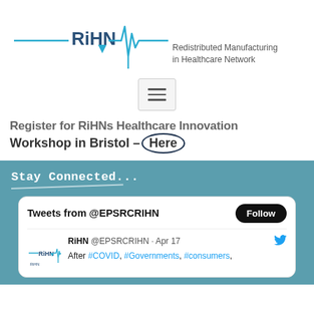[Figure (logo): RiHN logo with heartbeat line and downward arrow, blue color]
Redistributed Manufacturing in Healthcare Network
[Figure (other): Hamburger menu icon in a rounded rectangle box]
Register for RiHNs Healthcare Innovation Workshop in Bristol – Here
Stay Connected...
Tweets from @EPSRCRIHN
RiHN @EPSRCRIHN · Apr 17
After #COVID, #Governments, #consumers,